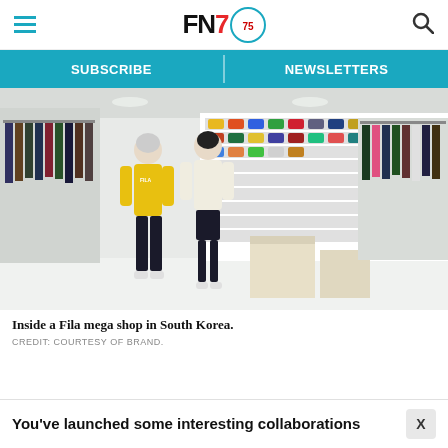FN7 — SUBSCRIBE | NEWSLETTERS
[Figure (photo): Interior of a Fila mega shop in South Korea, showing two mannequins dressed in Fila sportswear (yellow jacket and cream jacket), a wall display of colorful sneakers, and clothing racks on the sides.]
Inside a Fila mega shop in South Korea.
CREDIT: COURTESY OF BRAND.
You've launched some interesting collaborations